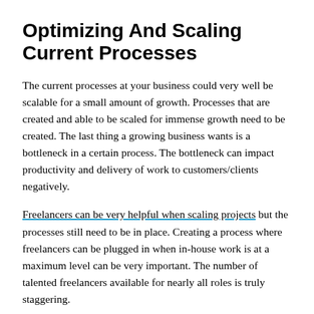Optimizing And Scaling Current Processes
The current processes at your business could very well be scalable for a small amount of growth. Processes that are created and able to be scaled for immense growth need to be created. The last thing a growing business wants is a bottleneck in a certain process. The bottleneck can impact productivity and delivery of work to customers/clients negatively.
Freelancers can be very helpful when scaling projects but the processes still need to be in place. Creating a process where freelancers can be plugged in when in-house work is at a maximum level can be very important. The number of talented freelancers available for nearly all roles is truly staggering.